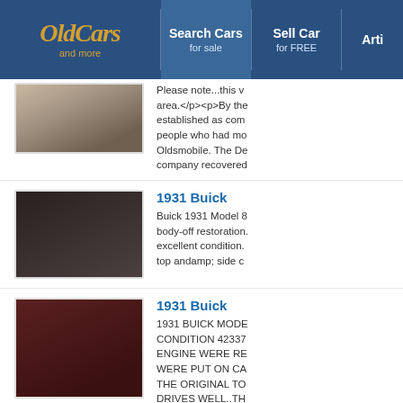[Figure (logo): OldCars and more logo in gold italic script on dark blue background]
Search Cars for sale | Sell Car for FREE | Arti...
Please note...this v area.</p><p>By the established as com people who had mo Oldsmobile. The De company recovered
[Figure (photo): 1931 Buick dark colored vintage car on grass, side view]
1931 Buick
Buick 1931 Model 8 body-off restoration. excellent condition. top andamp; side c
[Figure (photo): 1931 Buick dark red/maroon convertible vintage car]
1931 Buick
1931 BUICK MODE CONDITION 42337 ENGINE WERE RE WERE PUT ON CA THE ORIGINAL TO DRIVES WELL..TH MOTOR (1ST. YEA consignment...
1931 Buick
[Figure (photo): 1931 Buick partial view at bottom of page]